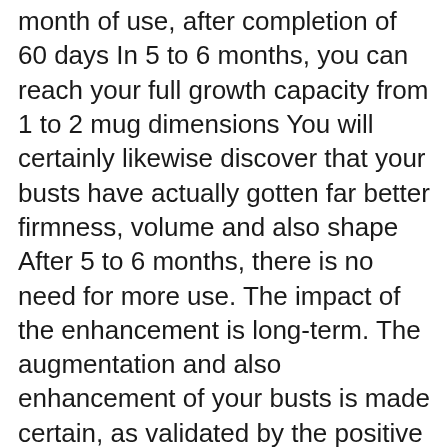month of use, after completion of 60 days In 5 to 6 months, you can reach your full growth capacity from 1 to 2 mug dimensions You will certainly likewise discover that your busts have actually gotten far better firmness, volume and also shape After 5 to 6 months, there is no need for more use. The impact of the enhancement is long-term. The augmentation and also enhancement of your busts is made certain, as validated by the positive outcomes of thousands of individuals worldwide.
Client testimonials on Amazon.com for Breast Actives verify that this product is working well. Females with little busts had busts enlarged. Others with excellent...